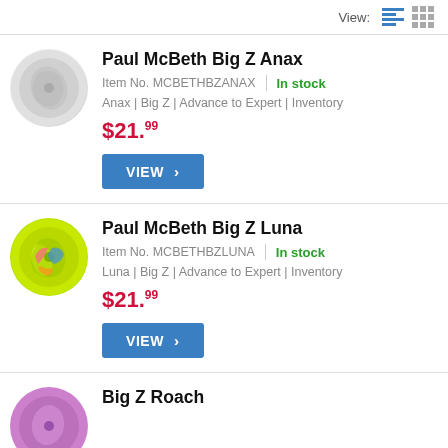View: [list icon] [grid icon]
Paul McBeth Big Z Anax | Item No. MCBETHBZANAX | In stock | Anax | Big Z | Advance to Expert | Inventory | $21.99
Paul McBeth Big Z Luna | Item No. MCBETHBZLUNA | In stock | Luna | Big Z | Advance to Expert | Inventory | $21.99
Big Z Roach | Item No. ...